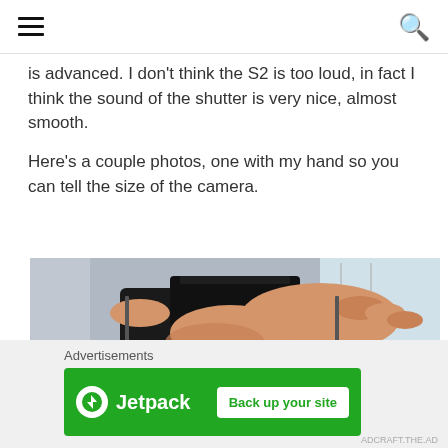[hamburger menu] [search icon]
is advanced. I don't think the S2 is too loud, in fact I think the sound of the shutter is very nice, almost smooth.
Here's a couple photos, one with my hand so you can tell the size of the camera.
[Figure (photo): A hand holding a Zenza Bronica medium format camera, showing the camera from above/front, with a room visible in the background.]
Advertisements — Jetpack: Back up your site